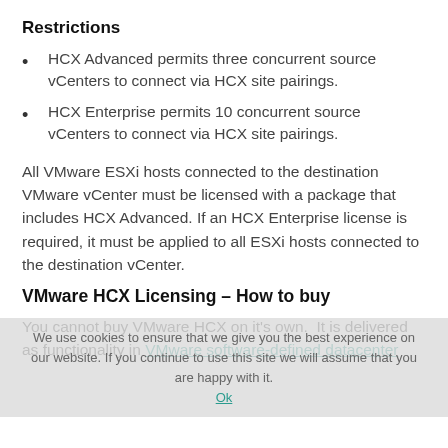Restrictions
HCX Advanced permits three concurrent source vCenters to connect via HCX site pairings.
HCX Enterprise permits 10 concurrent source vCenters to connect via HCX site pairings.
All VMware ESXi hosts connected to the destination VMware vCenter must be licensed with a package that includes HCX Advanced. If an HCX Enterprise license is required, it must be applied to all ESXi hosts connected to the destination vCenter.
VMware HCX Licensing – How to buy
You cannot buy VMware HCX on it's own.  It is delivered as functionality in VMware software-defined datacenter